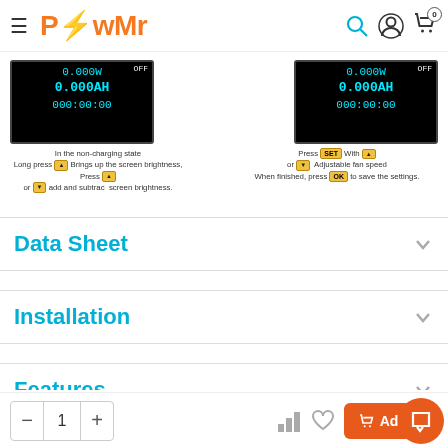PowMr
[Figure (screenshot): Two device screen panels showing 0.000W, 0.000AH, 000:00:00 display with captions about screen brightness and fan speed settings]
Data Sheet
Installation
Features
FAQ